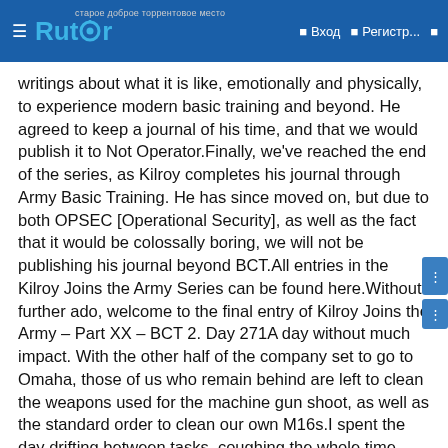Rutor — Вход — Регистр...
writings about what it is like, emotionally and physically, to experience modern basic training and beyond. He agreed to keep a journal of his time, and that we would publish it to Not Operator.Finally, we've reached the end of the series, as Kilroy completes his journal through Army Basic Training. He has since moved on, but due to both OPSEC [Operational Security], as well as the fact that it would be colossally boring, we will not be publishing his journal beyond BCT.All entries in the Kilroy Joins the Army Series can be found here.Without further ado, welcome to the final entry of Kilroy Joins the Army – Part XX – BCT 2. Day 271A day without much impact. With the other half of the company set to go to Omaha, those of us who remain behind are left to clean the weapons used for the machine gun shoot, as well as the standard order to clean our own M16s.I spent the day drifting between tasks, coughing the whole time from something I picked up that was aggravated by inhaling dust and sand from the previous day.My night is abbreviated yet again with a shift of CQ; the cough still present and combined now with a sore throat. The only thing I can do for now is just